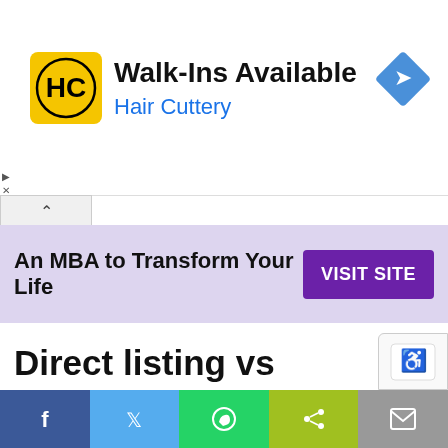[Figure (screenshot): Hair Cuttery advertisement banner with yellow logo, 'Walk-Ins Available' headline in black, 'Hair Cuttery' in blue, and a blue navigation diamond icon on the right]
[Figure (screenshot): MBA advertisement banner with lavender background, text 'An MBA to Transform Your Life' and a purple 'VISIT SITE' button]
Direct listing vs Traditional IPO
The direct listing path is very different from that of a traditional IPO. Here's a summary of the key differences:
[Figure (screenshot): Social sharing bar at bottom with Facebook, Twitter, WhatsApp, Share, and Email buttons]